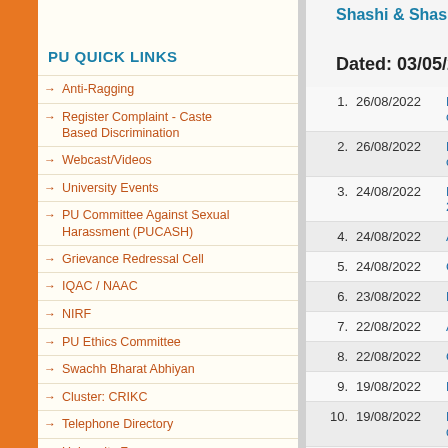PU QUICK LINKS
Anti-Ragging
Register Complaint - Caste Based Discrimination
Webcast/Videos
University Events
PU Committee Against Sexual Harassment (PUCASH)
Grievance Redressal Cell
IQAC / NAAC
NIRF
PU Ethics Committee
Swachh Bharat Abhiyan
Cluster: CRIKC
Telephone Directory
University Forms
Employment / Jobs
Right to Information
Alumni
Tenders
Shashi & Shashi
Dated: 03/05/2017
| # | Date | Link |
| --- | --- | --- |
| 1. | 26/08/2022 | Response to objections in |
| 2. | 26/08/2022 | Response to objections in |
| 3. | 24/08/2022 | Press Releas... 2022 |
| 4. | 24/08/2022 | Answer Key |
| 5. | 24/08/2022 | Question Bo |
| 6. | 23/08/2022 | Press Releas |
| 7. | 22/08/2022 | Answer Key |
| 8. | 22/08/2022 | Question Bo |
| 9. | 19/08/2022 | Press releas |
| 10. | 19/08/2022 | Press releas question boo |
| 11. | 19/08/2022 | Answer Key |
| 12. | 19/08/2022 | Question Bo |
| 13. | 12/08/2022 | Response t... |